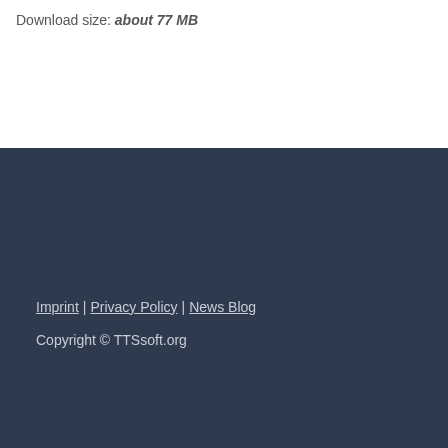Download size: about 77 MB
Imprint | Privacy Policy | News Blog
Copyright © TTSsoft.org